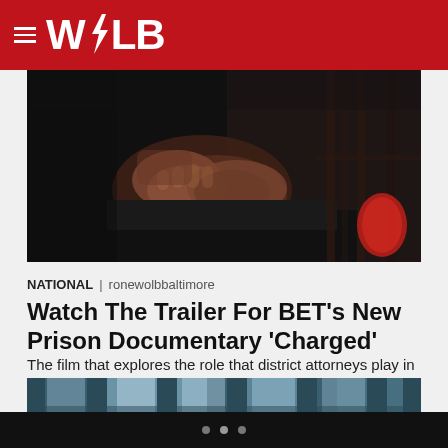WOLB
[Figure (photo): Close-up photo of a person's hands clasped together, wearing dark clothing, with prison bars visible and a red object in the background.]
NATIONAL | ronewolbbaltimore
Watch The Trailer For BET's New Prison Documentary 'Charged'
The film that explores the role that district attorneys play in the mass incarceration epidemic, debuts on Monday, Nov. 7.
[Figure (photo): Photo of blue-tinted prison cell bars/doors.]